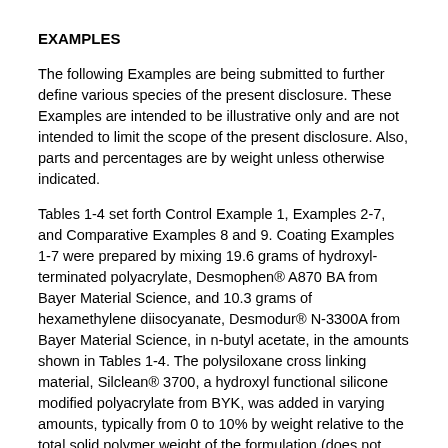EXAMPLES
The following Examples are being submitted to further define various species of the present disclosure. These Examples are intended to be illustrative only and are not intended to limit the scope of the present disclosure. Also, parts and percentages are by weight unless otherwise indicated.
Tables 1-4 set forth Control Example 1, Examples 2-7, and Comparative Examples 8 and 9. Coating Examples 1-7 were prepared by mixing 19.6 grams of hydroxyl-terminated polyacrylate, Desmophen® A870 BA from Bayer Material Science, and 10.3 grams of hexamethylene diisocyanate, Desmodur® N-3300A from Bayer Material Science, in n-butyl acetate, in the amounts shown in Tables 1-4. The polysiloxane cross linking material, Silclean® 3700, a hydroxyl functional silicone modified polyacrylate from BYK, was added in varying amounts, typically from 0 to 10% by weight relative to the total solid polymer weight of the formulation (does not include weight of solvent). All of the components and solvent were stirred in a beaker and the resulting coating formulation was cast onto a Mylar®